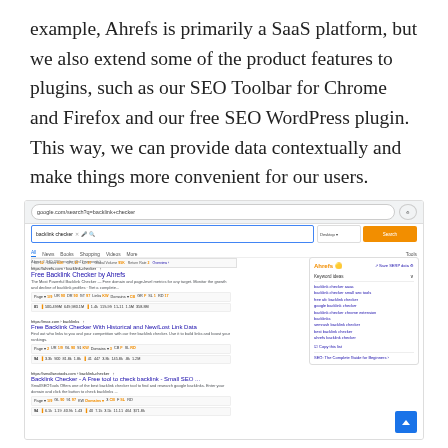example, Ahrefs is primarily a SaaS platform, but we also extend some of the product features to plugins, such as our SEO Toolbar for Chrome and Firefox and our free SEO WordPress plugin. This way, we can provide data contextually and make things more convenient for our users.
[Figure (screenshot): Screenshot of a Google search results page for 'backlink checker' with Ahrefs SEO Toolbar overlay showing keyword ideas panel on the right side, and three search results visible on the left with Ahrefs metrics rows beneath each result.]